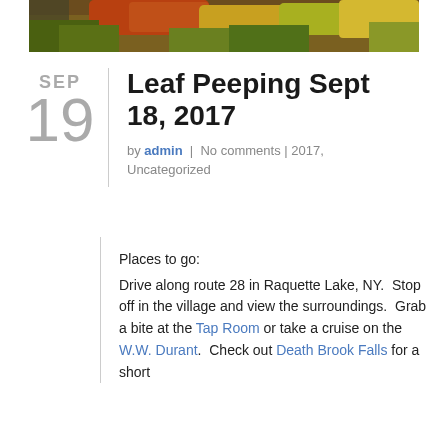[Figure (photo): Top banner photo showing autumn foliage with colorful fall trees and a small 'LAKE' text label in the upper left corner]
Leaf Peeping Sept 18, 2017
by admin | No comments | 2017, Uncategorized
Places to go:
Drive along route 28 in Raquette Lake, NY. Stop off in the village and view the surroundings. Grab a bite at the Tap Room or take a cruise on the W.W. Durant. Check out Death Brook Falls for a short